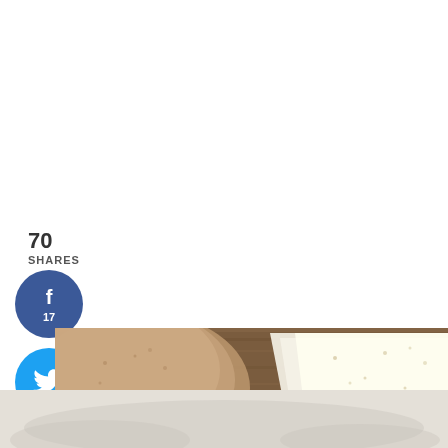70
SHARES
[Figure (infographic): Social media share buttons: Facebook (17), Twitter, Pinterest (53), Yum]
[Figure (photo): Food photo showing whole wheat pita breads and flour tortillas on a wooden cutting board with red chili peppers in background, and a floured surface below]